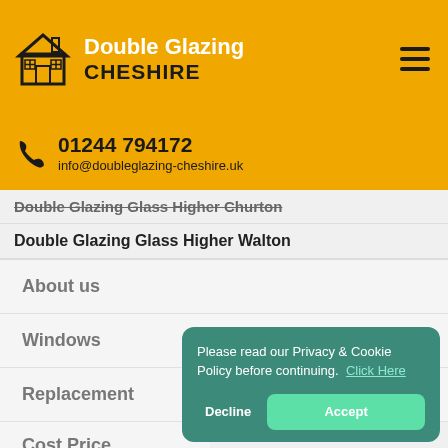Double Glazing CHESHIRE
01244 794172
info@doubleglazing-cheshire.uk
Double Glazing Glass Higher Churton
Double Glazing Glass Higher Walton
About us
Windows
Replacement
Cost Price
Quote
Please read our Privacy & Cookie Policy before continuing. Click Here
Decline
Accept